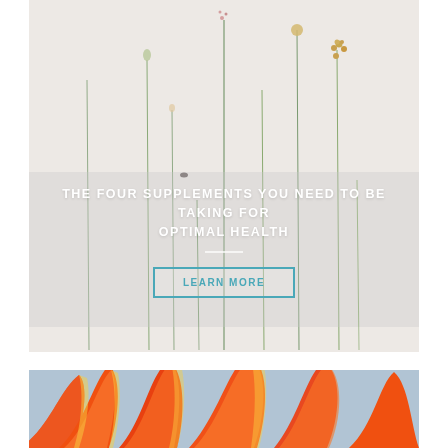[Figure (photo): Photo of various dried flowers and botanical stems arranged against a white/light grey background, with delicate stems holding small flower heads and berries. A semi-transparent overlay band runs across the middle with white text.]
THE FOUR SUPPLEMENTS YOU NEED TO BE TAKING FOR OPTIMAL HEALTH
LEARN MORE
[Figure (photo): Close-up photo of orange and red tulip or lily petals against a light blue-grey sky background, showing vivid warm-toned flower petals in detail.]